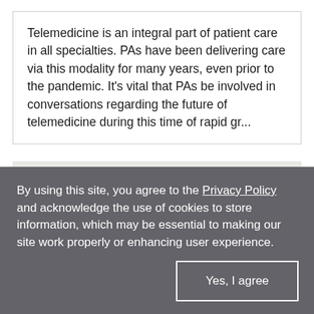Telemedicine is an integral part of patient care in all specialties. PAs have been delivering care via this modality for many years, even prior to the pandemic. It's vital that PAs be involved in conversations regarding the future of telemedicine during this time of rapid gr...
[Figure (other): Grey rectangular placeholder image area]
By using this site, you agree to the Privacy Policy and acknowledge the use of cookies to store information, which may be essential to making our site work properly or enhancing user experience.